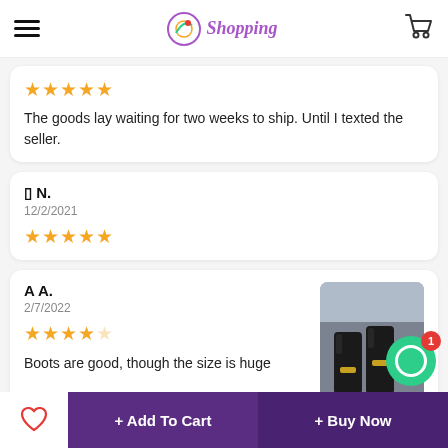Go Shopping — navigation header with hamburger menu and cart icon
★★★★★
The goods lay waiting for two weeks to ship. Until I texted the seller.
⬛ N.
12/2/2021
★★★★★
A A.
2/7/2022
★★★★☆
Boots are good, though the size is huge
[Figure (photo): Photo of black ankle boots with gold buckle detail against a grey background]
+ Add To Cart  + Buy Now